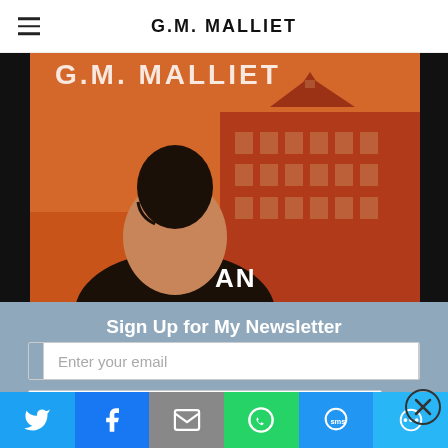G.M. MALLIET
[Figure (illustration): Book cover for G.M. Malliet showing a woman from behind with dark hair in a bun, wearing a black top, facing a red-toned illustration of a large building. Text 'G.M. MALLIET' and 'AN' visible on cover. Dark/black background border.]
Sign Up for My Newsletter
Enter your email
Enter first name
Enter last name